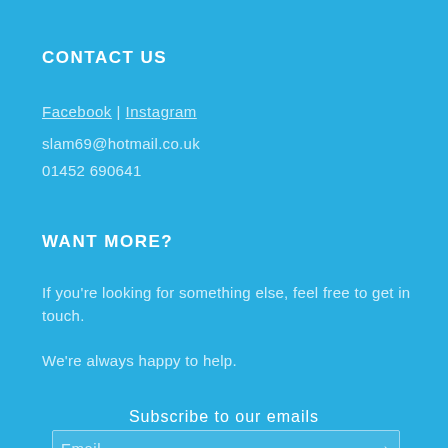CONTACT US
Facebook | Instagram
slam69@hotmail.co.uk
01452 690641
WANT MORE?
If you're looking for something else, feel free to get in touch.
We're always happy to help.
Subscribe to our emails
Email →